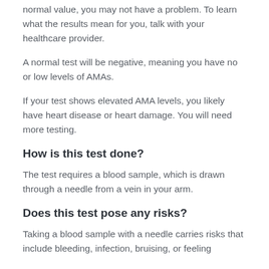normal value, you may not have a problem. To learn what the results mean for you, talk with your healthcare provider.
A normal test will be negative, meaning you have no or low levels of AMAs.
If your test shows elevated AMA levels, you likely have heart disease or heart damage. You will need more testing.
How is this test done?
The test requires a blood sample, which is drawn through a needle from a vein in your arm.
Does this test pose any risks?
Taking a blood sample with a needle carries risks that include bleeding, infection, bruising, or feeling